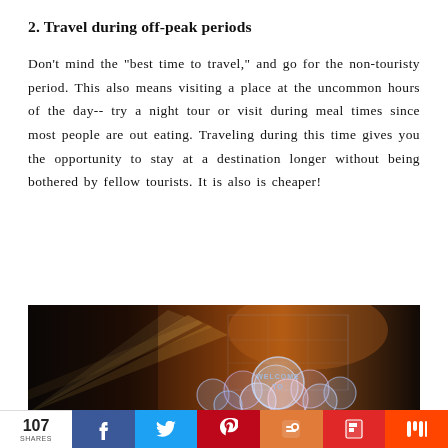2. Travel during off-peak periods
Don't mind the "best time to travel," and go for the non-touristy period. This also means visiting a place at the uncommon hours of the day-- try a night tour or visit during meal times since most people are out eating. Traveling during this time gives you the opportunity to stay at a destination longer without being bothered by fellow tourists. It is also is cheaper!
[Figure (photo): Dark atmospheric photo with light beams and colorful bubble/balloon decorations with a 'WELCOME TO' sign]
107 SHARES | Facebook | Twitter | Pinterest | Blogger | Flipboard | Mix